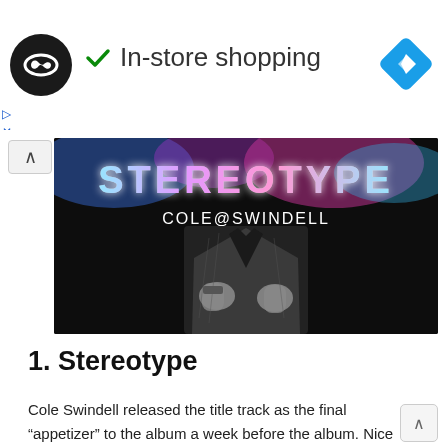[Figure (screenshot): Ad banner with black circular logo with infinity symbol, green checkmark, 'In-store shopping' text, and blue diamond navigation icon on right]
[Figure (photo): Album cover for 'Stereotype' by Cole Swindell. Dark background with glowing neon 'STEREOTYPE' text at top, 'COLE@SWINDELL' text below it, and a person in a denim jacket, shown from chest down, holding open lapels.]
1. Stereotype
Cole Swindell released the title track as the final “appetizer” to the album a week before the album. Nice song, which comes with a typical modern country sound. Not the best track of album, though.